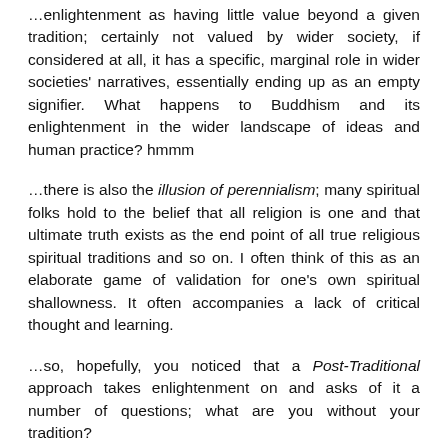…enlightenment as having little value beyond a given tradition; certainly not valued by wider society, if considered at all, it has a specific, marginal role in wider societies' narratives, essentially ending up as an empty signifier. What happens to Buddhism and its enlightenment in the wider landscape of ideas and human practice? hmmm
…there is also the illusion of perennialism; many spiritual folks hold to the belief that all religion is one and that ultimate truth exists as the end point of all true religious spiritual traditions and so on. I often think of this as an elaborate game of validation for one's own spiritual shallowness. It often accompanies a lack of critical thought and learning.
…so, hopefully, you noticed that a Post-Traditional approach takes enlightenment on and asks of it a number of questions; what are you without your tradition?